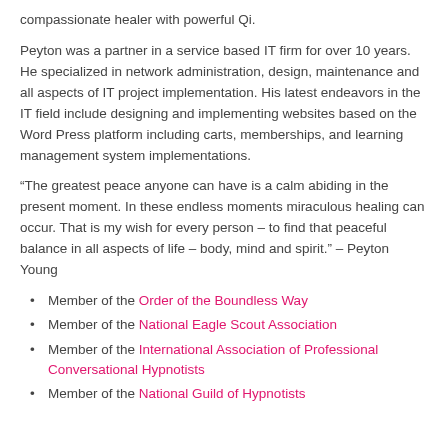compassionate healer with powerful Qi.
Peyton was a partner in a service based IT firm for over 10 years. He specialized in network administration, design, maintenance and all aspects of IT project implementation. His latest endeavors in the IT field include designing and implementing websites based on the Word Press platform including carts, memberships, and learning management system implementations.
“The greatest peace anyone can have is a calm abiding in the present moment. In these endless moments miraculous healing can occur. That is my wish for every person – to find that peaceful balance in all aspects of life – body, mind and spirit.” – Peyton Young
Member of the Order of the Boundless Way
Member of the National Eagle Scout Association
Member of the International Association of Professional Conversational Hypnotists
Member of the National Guild of Hypnotists